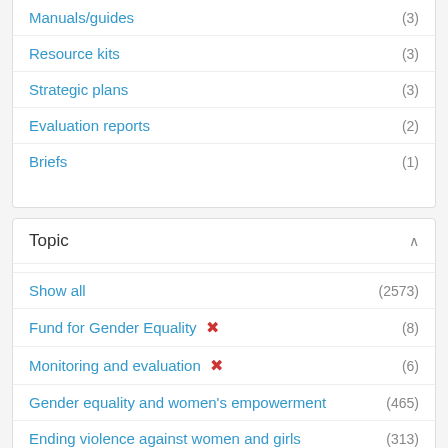Manuals/guides (3)
Resource kits (3)
Strategic plans (3)
Evaluation reports (2)
Briefs (1)
Topic
Show all (2573)
Fund for Gender Equality ✕ (8)
Monitoring and evaluation ✕ (6)
Gender equality and women's empowerment (465)
Ending violence against women and girls (313)
Economic empowerment (254)
Human rights (132)
COVID-19 (124)
Peace and security (115)
Humanitarian action (87)